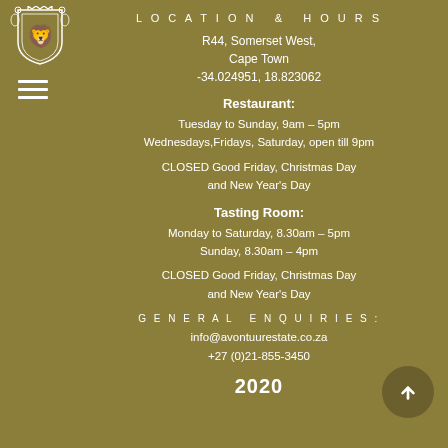[Figure (logo): Heraldic crest/shield logo with lion, crown and decorative elements in white]
[Figure (illustration): Hamburger menu icon — three horizontal white lines]
LOCATION & HOURS
R44, Somerset West,
Cape Town
-34.024951, 18.823062
Restaurant:
Tuesday to Sunday, 9am – 5pm
Wednesdays,Fridays, Saturday, open till 9pm
CLOSED Good Friday, Christmas Day
and New Year's Day
Tasting Room:
Monday to Saturday, 8.30am – 5pm
Sunday, 8.30am – 4pm
CLOSED Good Friday, Christmas Day
and New Year's Day
GENERAL ENQUIRIES:
info@avontuurestate.co.za
+27 (0)21-855-3450
2020